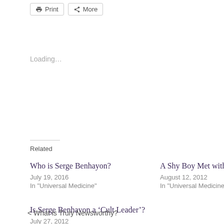Print  More
Loading...
Related
Who is Serge Benhayon?
July 19, 2016
In "Universal Medicine"
A Shy Boy Met with Love
August 12, 2012
In "Universal Medicine"
Is Serge Benhayon a ‘Cult Leader’?
July 27, 2012
In "Media Archive"
< What is Truly Newsworthy?